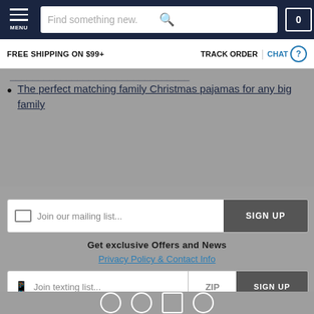MENU | Find something new. | 0
FREE SHIPPING ON $99+ | TRACK ORDER | CHAT
The perfect matching family Christmas pajamas for any big family
Join our mailing list...
SIGN UP
Get exclusive Offers and News
Privacy Policy & Contact Info
Join texting list...
ZIP
SIGN UP
U.S. Customers only. No purchase necessary. Automated marketing messages will be sent to the phone number provided. Msg & data rates may apply. Msg frequency may vary.
Privacy Policy